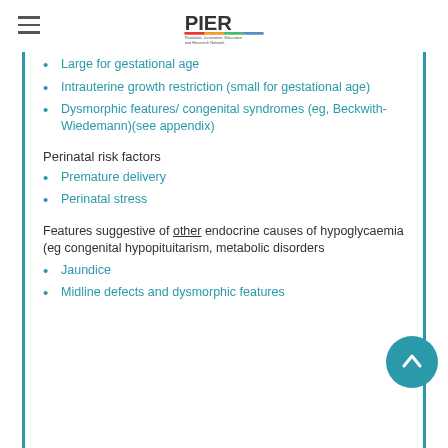PIER - Paediatric Innovation, Education and Research Network
Large for gestational age
Intrauterine growth restriction (small for gestational age)
Dysmorphic features/ congenital syndromes (eg, Beckwith-Wiedemann)(see appendix)
Perinatal risk factors
Premature delivery
Perinatal stress
Features suggestive of other endocrine causes of hypoglycaemia (eg congenital hypopituitarism, metabolic disorders
Jaundice
Midline defects and dysmorphic features